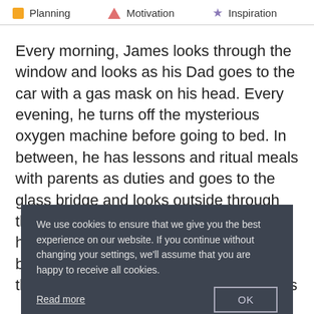Planning   Motivation   Inspiration
Every morning, James looks through the window and looks as his Dad goes to the car with a gas mask on his head. Every evening, he turns off the mysterious oxygen machine before going to bed. In between, he has lessons and ritual meals with parents as duties and goes to the glass bridge and looks outside through the window as entertainment. He also has Brigsby Bear. Every week, his father brings a cassette with a new episode of the show called Brigsby Bear, and James
We use cookies to ensure that we give you the best experience on our website. If you continue without changing your settings, we'll assume that you are happy to receive all cookies.
Read more